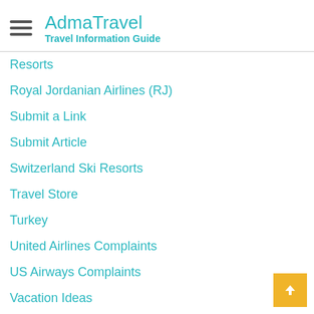AdmaTravel — Travel Information Guide
Resorts
Royal Jordanian Airlines (RJ)
Submit a Link
Submit Article
Switzerland Ski Resorts
Travel Store
Turkey
United Airlines Complaints
US Airways Complaints
Vacation Ideas
Categories